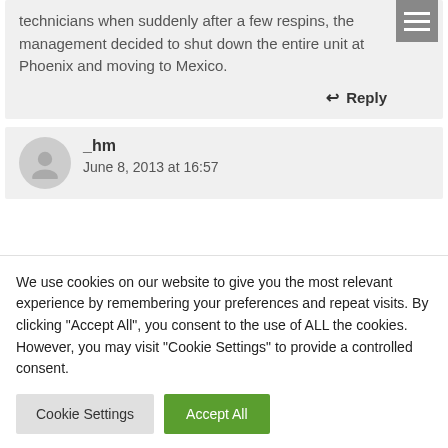technicians when suddenly after a few respins, the management decided to shut down the entire unit at Phoenix and moving to Mexico.
↩ Reply
_hm
June 8, 2013 at 16:57
We use cookies on our website to give you the most relevant experience by remembering your preferences and repeat visits. By clicking "Accept All", you consent to the use of ALL the cookies. However, you may visit "Cookie Settings" to provide a controlled consent.